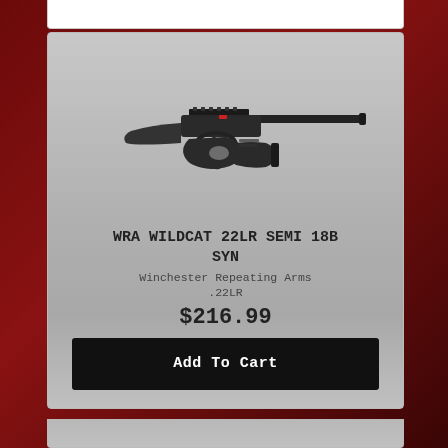[Figure (photo): Winchester Wildcat semi-automatic rifle with black synthetic stock, shown in profile against a light gray gradient background]
WRA WILDCAT 22LR SEMI 18B SYN
Winchester Repeating Arms
.22LR
$216.99
Add To Cart